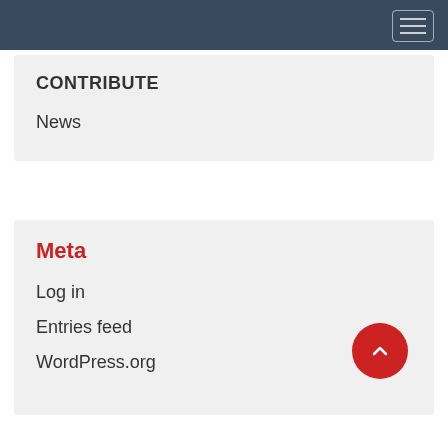Navigation bar with hamburger menu
CONTRIBUTE
News
Meta
Log in
Entries feed
WordPress.org